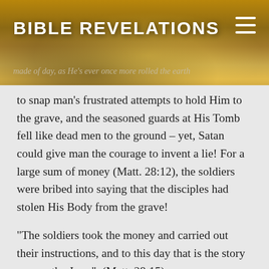BIBLE REVELATIONS
made of day, as He’s ever once more rolled the earth to snap man’s frustrated attempts to hold Him to the grave, and the seasoned guards at His Tomb fell like dead men to the ground – yet, Satan could give man the courage to invent a lie! For a large sum of money (Matt. 28:12), the soldiers were bribed into saying that the disciples had stolen His Body from the grave!
“The soldiers took the money and carried out their instructions, and to this day that is the story among the Jews”. (Matt. 28:15).
Satan knew that he had lost and that the Resurrection